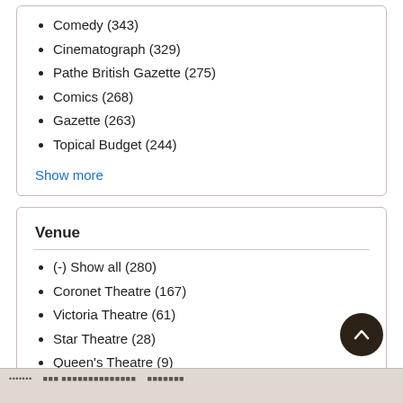Comedy (343)
Cinematograph (329)
Pathe British Gazette (275)
Comics (268)
Gazette (263)
Topical Budget (244)
Show more
Venue
(-) Show all (280)
Coronet Theatre (167)
Victoria Theatre (61)
Star Theatre (28)
Queen's Theatre (9)
World Theatre (7)
Hongkong Theatre (3)
Bijou Theatre (1)
City Hall (1)
Theatre Royal (1)
Show more
[Figure (other): Bottom strip with small text/labels]